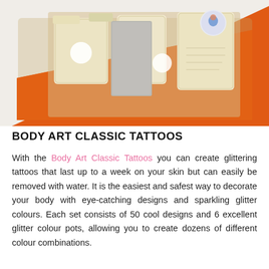[Figure (photo): Overhead photo of a Body Art Classic Tattoos kit box with orange background, containing small cream-colored packets, a grey booklet, and glitter colour pots, with a sticker visible in the upper right corner.]
BODY ART CLASSIC TATTOOS
With the Body Art Classic Tattoos you can create glittering tattoos that last up to a week on your skin but can easily be removed with water. It is the easiest and safest way to decorate your body with eye-catching designs and sparkling glitter colours. Each set consists of 50 cool designs and 6 excellent glitter colour pots, allowing you to create dozens of different colour combinations.